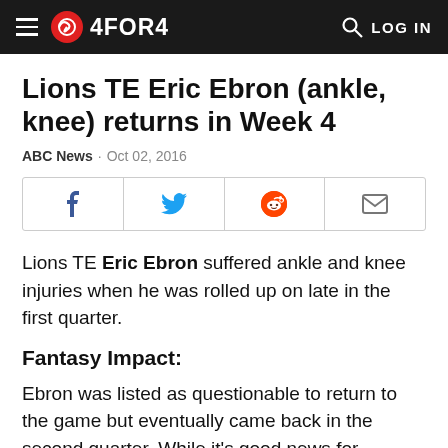4FOR4
Lions TE Eric Ebron (ankle, knee) returns in Week 4
ABC News · Oct 02, 2016
[Figure (other): Social share buttons: Facebook, Twitter, Reddit, Email]
Lions TE Eric Ebron suffered ankle and knee injuries when he was rolled up on late in the first quarter.
Fantasy Impact:
Ebron was listed as questionable to return to the game but eventually came back in the second quarter. While it's good news for owners, we'll